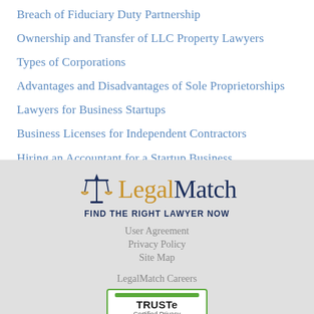Breach of Fiduciary Duty Partnership
Ownership and Transfer of LLC Property Lawyers
Types of Corporations
Advantages and Disadvantages of Sole Proprietorships
Lawyers for Business Startups
Business Licenses for Independent Contractors
Hiring an Accountant for a Startup Business
[Figure (logo): LegalMatch logo with scales of justice icon, gold 'Legal' and dark blue 'Match' text, tagline 'FIND THE RIGHT LAWYER NOW']
User Agreement
Privacy Policy
Site Map
LegalMatch Careers
TRUSTe Certified Privacy